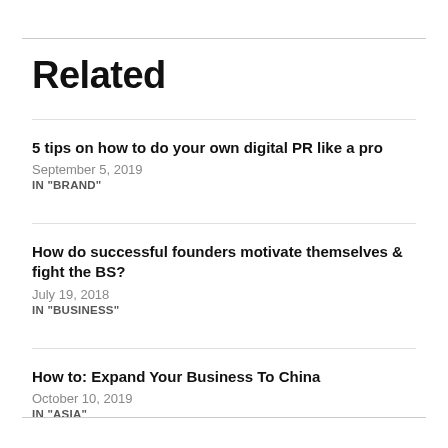Related
5 tips on how to do your own digital PR like a pro
September 5, 2019
IN "BRAND"
How do successful founders motivate themselves & fight the BS?
July 19, 2018
IN "BUSINESS"
How to: Expand Your Business To China
October 10, 2019
IN "ASIA"